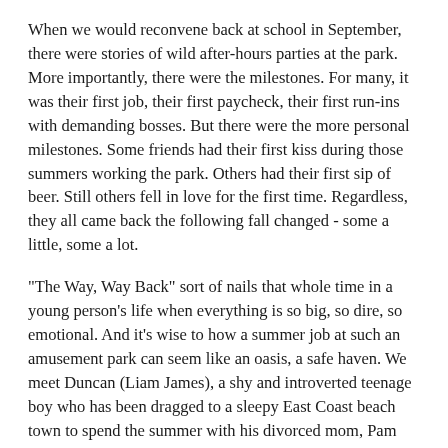When we would reconvene back at school in September, there were stories of wild after-hours parties at the park. More importantly, there were the milestones. For many, it was their first job, their first paycheck, their first run-ins with demanding bosses. But there were the more personal milestones. Some friends had their first kiss during those summers working the park. Others had their first sip of beer. Still others fell in love for the first time. Regardless, they all came back the following fall changed - some a little, some a lot.
"The Way, Way Back" sort of nails that whole time in a young person's life when everything is so big, so dire, so emotional. And it's wise to how a summer job at such an amusement park can seem like an oasis, a safe haven. We meet Duncan (Liam James), a shy and introverted teenage boy who has been dragged to a sleepy East Coast beach town to spend the summer with his divorced mom, Pam (Toni Collette); her overbearing perfectionist boyfriend, Trent (Steve Carell); and his snobby, teenage daughter Steph (Zoe Levin). Duncan is still reeling from the divorce of his parents a couple of years earlier. Even worse, he is constantly ordered around, criticized, and generally brow-beaten by Trent who demands things be done his way at all